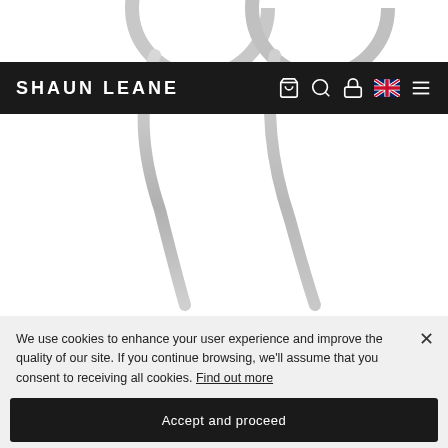[Figure (photo): Product photo of Shaun Leane Hook Size 2 Earrings — two curved silver hook/thorn earrings against a white background, partially cropped by the navigation bar.]
SHAUN LEANE
HOOK SIZE 2 EARRINGS
Silver
We use cookies to enhance your user experience and improve the quality of our site. If you continue browsing, we'll assume that you consent to receiving all cookies. Find out more
Accept and proceed